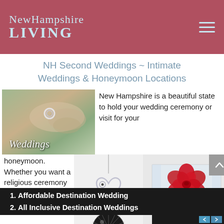NewHampshire LIVING
NH Second Weddings ~ Intimate Weddings & Honeymoon Locations
[Figure (photo): Wedding rings photo with italic 'Weddings' overlay text]
New Hampshire is a beautiful state to hold your wedding ceremony or visit for your honeymoon. Whether you want a religious ceremony in one of the many large
[Figure (photo): Heart-shaped jewelry necklace pendant with projection sphere]
[Figure (photo): Red preserved rose in acrylic display box labeled 'Best Wishes']
Affordable Destination Wedding
All Inclusive Destination Weddings